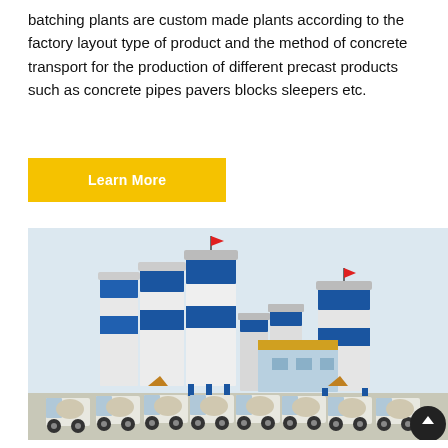batching plants are custom made plants according to the factory layout type of product and the method of concrete transport for the production of different precast products such as concrete pipes pavers blocks sleepers etc.
Learn More
[Figure (photo): Industrial concrete batching plant facility with multiple large blue and white cylindrical silos/storage tanks, a central building structure, conveyor belts, and a fleet of cement mixer trucks parked in the foreground on a flat open site.]